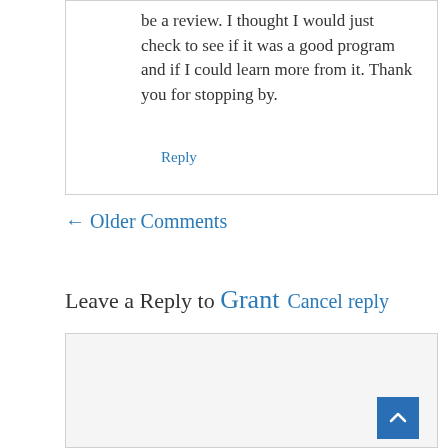be a review. I thought I would just check to see if it was a good program and if I could learn more from it. Thank you for stopping by.
Reply
← Older Comments
Leave a Reply to Grant Cancel reply
[Figure (screenshot): Comment text input box (textarea), light grey background, empty]